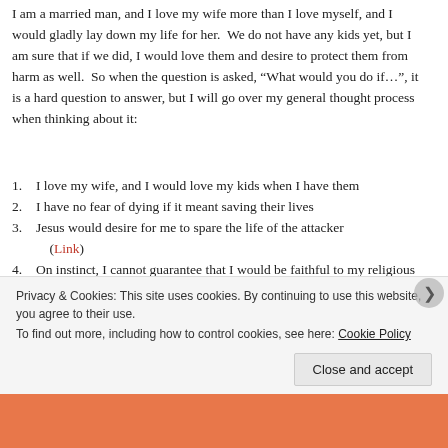I am a married man, and I love my wife more than I love myself, and I would gladly lay down my life for her. We do not have any kids yet, but I am sure that if we did, I would love them and desire to protect them from harm as well. So when the question is asked, “What would you do if…”, it is a hard question to answer, but I will go over my general thought process when thinking about it:
I love my wife, and I would love my kids when I have them
I have no fear of dying if it meant saving their lives
Jesus would desire for me to spare the life of the attacker (Link)
On instinct, I cannot guarantee that I would be faithful to my religious beliefs
If I take another life to protect my loved ones, that does not mean that I would be justified to do so under the Lord’s
Privacy & Cookies: This site uses cookies. By continuing to use this website, you agree to their use.
To find out more, including how to control cookies, see here: Cookie Policy
Close and accept